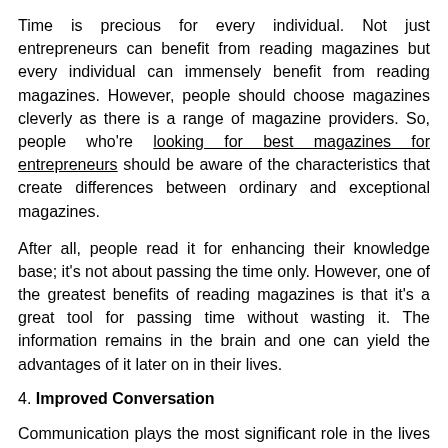Time is precious for every individual. Not just entrepreneurs can benefit from reading magazines but every individual can immensely benefit from reading magazines. However, people should choose magazines cleverly as there is a range of magazine providers. So, people who're looking for best magazines for entrepreneurs should be aware of the characteristics that create differences between ordinary and exceptional magazines.
After all, people read it for enhancing their knowledge base; it's not about passing the time only. However, one of the greatest benefits of reading magazines is that it's a great tool for passing time without wasting it. The information remains in the brain and one can yield the advantages of it later on in their lives.
4. Improved Conversation
Communication plays the most significant role in the lives of any entrepreneur. It enables people to sustain a fruitful conversation. However, without having knowledge of the relevant field, the